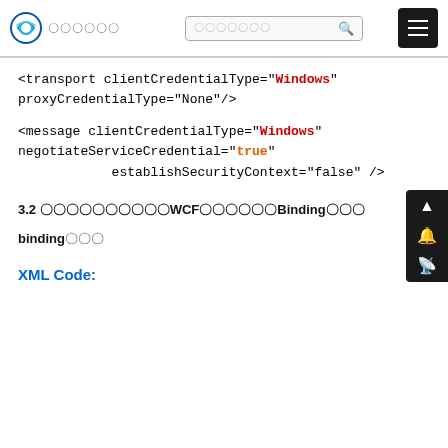〇〇〇〇〇 [logo and search bar]
<transport clientCredentialType="Windows" proxyCredentialType="None"/>
<message clientCredentialType="Windows" negotiateServiceCredential="true" establishSecurityContext="false" />
3.2 〇〇〇〇〇〇〇〇〇〇WCF〇〇〇〇〇〇Binding〇〇〇
binding〇〇〇
XML Code: